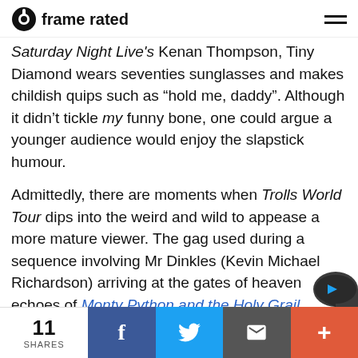frame rated
Saturday Night Live's Kenan Thompson, Tiny Diamond wears seventies sunglasses and makes childish quips such as “hold me, daddy”. Although it didn’t tickle my funny bone, one could argue a younger audience would enjoy the slapstick humour.
Admittedly, there are moments when Trolls World Tour dips into the weird and wild to appease a more mature viewer. The gag used during a sequence involving Mr Dinkles (Kevin Michael Richardson) arriving at the gates of heaven echoes of Monty Python and the Holy Grail (1975). However, wh
11 SHARES